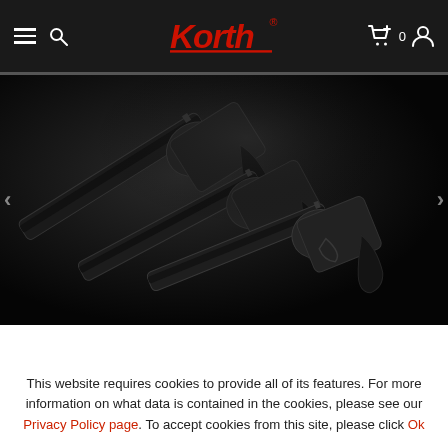Korth (logo) — hamburger menu, search, cart (0), user icon
[Figure (photo): Three black revolvers arranged diagonally on a dark background, viewed from above at an angle, showing barrels and grips.]
This website requires cookies to provide all of its features. For more information on what data is contained in the cookies, please see our Privacy Policy page. To accept cookies from this site, please click Ok